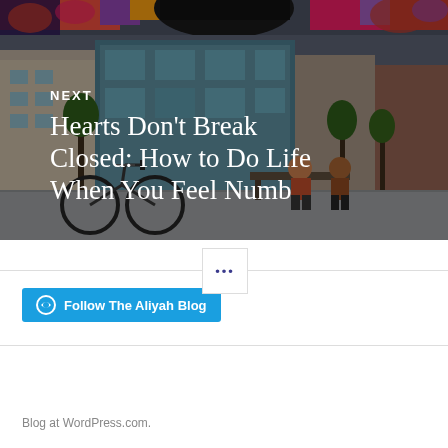[Figure (photo): City street scene with bicycles and people on bench, overlaid with NEXT label and article title text in white. Background shows urban buildings, trees, and colorful mural at top.]
NEXT
Hearts Don't Break Closed: How to Do Life When You Feel Numb
•••
Follow The Aliyah Blog
Blog at WordPress.com.